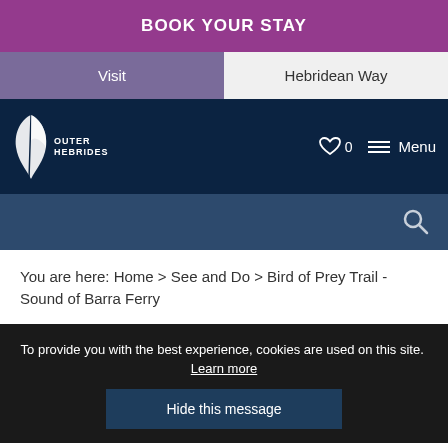BOOK YOUR STAY
Visit | Hebridean Way
[Figure (logo): Outer Hebrides logo with white feather quill pen icon and text 'OUTER HEBRIDES']
♡ 0   ☰ Menu
Search bar with magnifying glass icon
You are here: Home > See and Do > Bird of Prey Trail - Sound of Barra Ferry
To provide you with the best experience, cookies are used on this site.  Learn more
Hide this message